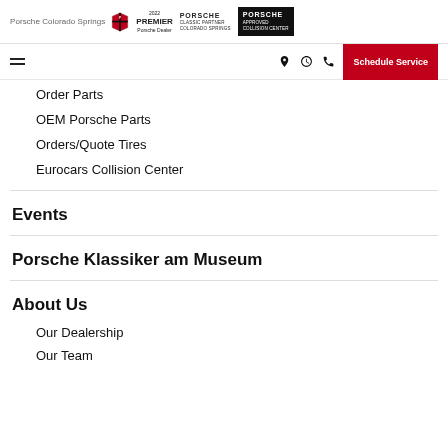Porsche Colorado Springs | 2022 Premier Porsche Dealer | Classic Partner Colorado Springs | Approved Collision Center
Order Parts
OEM Porsche Parts
Orders/Quote Tires
Eurocars Collision Center
Events
Porsche Klassiker am Museum
About Us
Our Dealership
Our Team